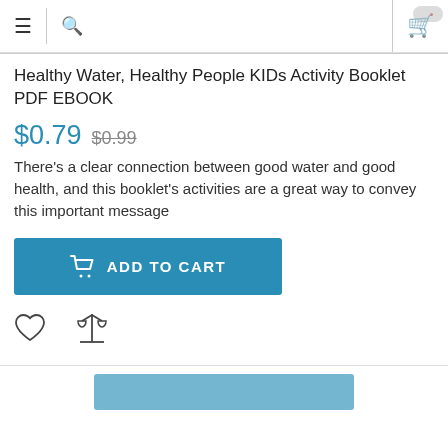Navigation header with menu, search, and cart icons
Healthy Water, Healthy People KIDs Activity Booklet PDF EBOOK
$0.79  $0.99
There's a clear connection between good water and good health, and this booklet's activities are a great way to convey this important message
ADD TO CART
Wishlist and Compare icons